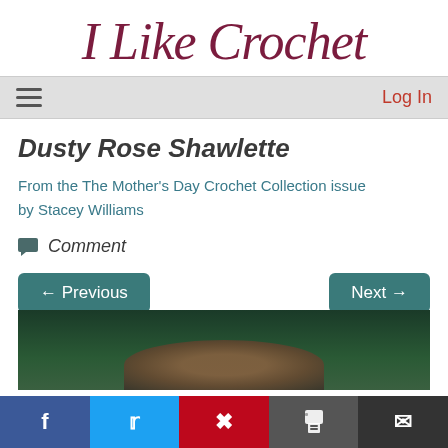I Like Crochet
≡   Log In
Dusty Rose Shawlette
From the The Mother's Day Crochet Collection issue by Stacey Williams
Comment
← Previous   Next →
[Figure (photo): Photo of person wearing dusty rose shawlette against dark green background]
[Figure (infographic): Social sharing bar with Facebook, Twitter, Pinterest, Print, and Email buttons]